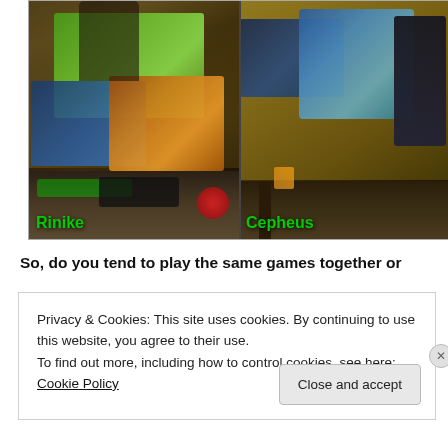[Figure (photo): Two side-by-side photos of gaming setups. Left side labeled 'Rinike' shows a person standing behind multiple monitors displaying World of Warcraft-style game graphics (green and orange tones), with a glowing green keyboard on a desk. Right side labeled 'Cepheus' shows a multi-monitor gaming setup with fantasy game graphics on a wooden desk. Both names are shown in green text.]
So, do you tend to play the same games together or
Privacy & Cookies: This site uses cookies. By continuing to use this website, you agree to their use.
To find out more, including how to control cookies, see here: Cookie Policy
Close and accept